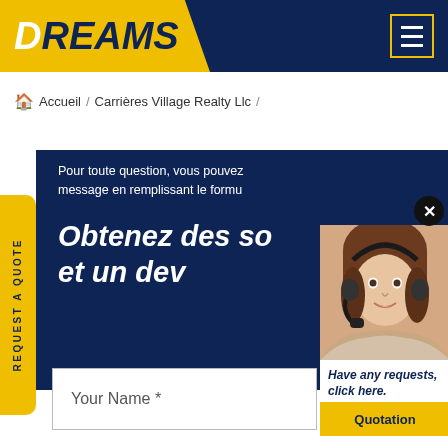DREAMS
Accueil / Carrières Village Realty Llc /
REQUEST A QUOTE
Pour toute question, vous pouvez message en remplissant le formu
Obtenez des so et un dev
[Figure (photo): Customer service representative woman wearing headset, smiling]
Have any requests, click here.
Quotation
Your Name *